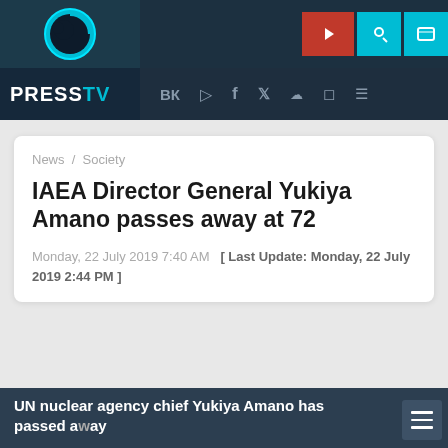[Figure (screenshot): PressTV website header with logo, navigation icons, and social media bar]
News / Society
IAEA Director General Yukiya Amano passes away at 72
Monday, 22 July 2019 7:40 AM  [ Last Update: Monday, 22 July 2019 2:44 PM ]
International Atomic Energy Agency (IAEA) chief Yukiya Amano poses ahead of a meeting of IAEA Board of Governors on November 22, 2018 at the agency. (AFP photo)
UN nuclear agency chief Yukiya Amano has passed away at the age of 72, the International Atomic Energy...